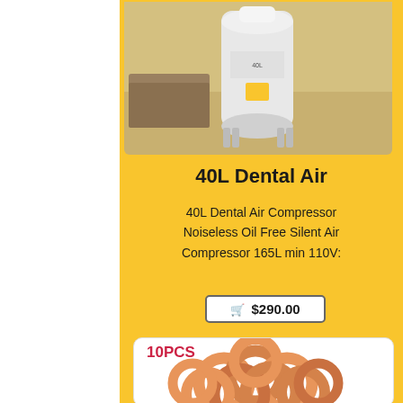[Figure (photo): Photo of a 40L dental air compressor, white cylindrical tank on stands, in a room setting]
40L Dental Air
40L Dental Air Compressor Noiseless Oil Free Silent Air Compressor 165L min 110V:
$290.00
[Figure (photo): Photo of 10 orange/tan rubber O-rings arranged in a pile, labeled 10PCS]